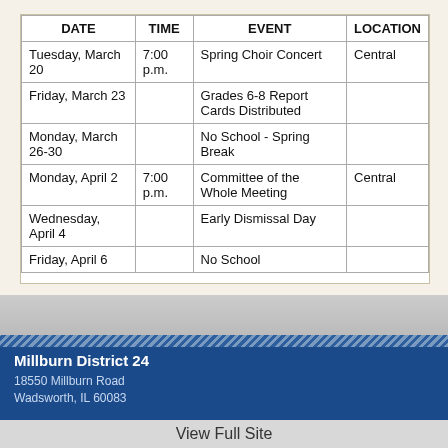| DATE | TIME | EVENT | LOCATION |
| --- | --- | --- | --- |
| Tuesday, March 20 | 7:00 p.m. | Spring Choir Concert | Central |
| Friday, March 23 |  | Grades 6-8 Report Cards Distributed |  |
| Monday, March 26-30 |  | No School - Spring Break |  |
| Monday, April 2 | 7:00 p.m. | Committee of the Whole Meeting | Central |
| Wednesday, April 4 |  | Early Dismissal Day |  |
| Friday, April 6 |  | No School |  |
Millburn District 24
18550 Millburn Road
Wadsworth, IL 60083
View Full Site